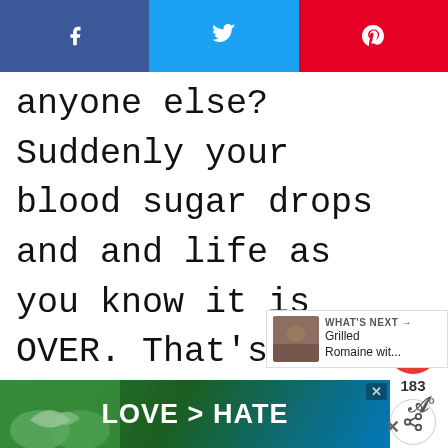[Figure (infographic): Social sharing bar with Facebook (blue), Twitter (light blue), and Pinterest (red) buttons at the top of the page]
anyone else? Suddenly your blood sugar drops and and life as you know it is OVER. That's the time I reach for something like almonds because they give me a boost to get through until meal time. Or sometime they just becom mini meal.
[Figure (infographic): Red circular heart/like button with count 183 below it, and a share icon below that]
[Figure (infographic): What's Next panel showing a thumbnail image and text 'Grilled Romaine wit...']
[Figure (infographic): Advertisement banner at the bottom with text 'LOVE > HATE' on a green/blue gradient background with close and mute buttons]